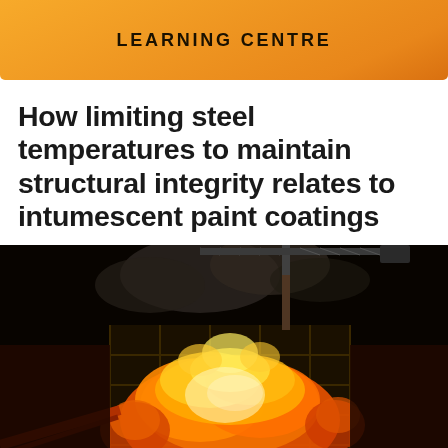LEARNING CENTRE
How limiting steel temperatures to maintain structural integrity relates to intumescent paint coatings
[Figure (photo): Night-time photograph of a multi-storey building structure engulfed in flames, with a construction crane visible above and smoke rising against a dark sky.]